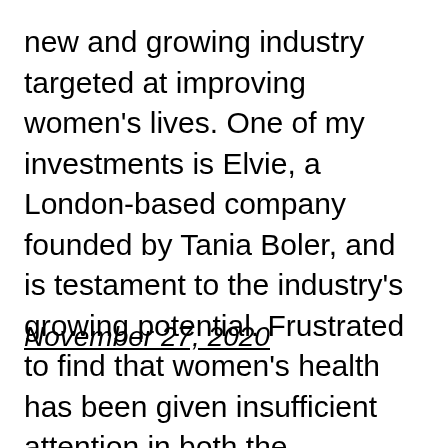new and growing industry targeted at improving women's lives. One of my investments is Elvie, a London-based company founded by Tania Boler, and is testament to the industry's growing potential. Frustrated to find that women's health has been given insufficient attention in both the technological […]
November 27, 2020